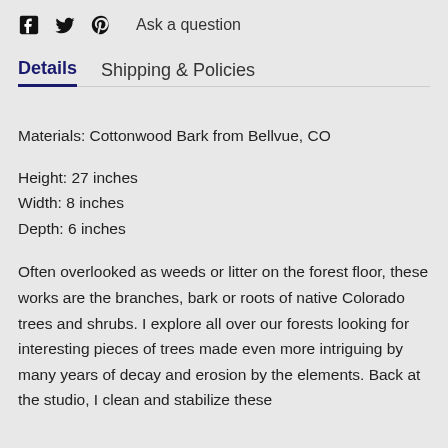Ask a question
Details  Shipping & Policies
Materials: Cottonwood Bark from Bellvue, CO
Height: 27 inches
Width: 8 inches
Depth: 6 inches
Often overlooked as weeds or litter on the forest floor, these works are the branches, bark or roots of native Colorado trees and shrubs. I explore all over our forests looking for interesting pieces of trees made even more intriguing by many years of decay and erosion by the elements. Back at the studio, I clean and stabilize these